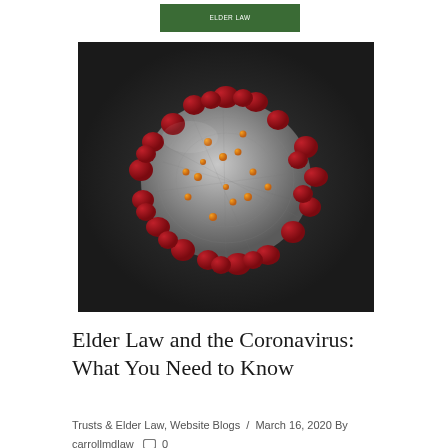ELDER LAW
[Figure (photo): Microscopic illustration of a coronavirus particle, showing a spherical grey body with red spike proteins and small orange dots on its surface, against a dark background.]
Elder Law and the Coronavirus: What You Need to Know
Trusts & Elder Law, Website Blogs  /  March 16, 2020 By carrollmdlaw   0